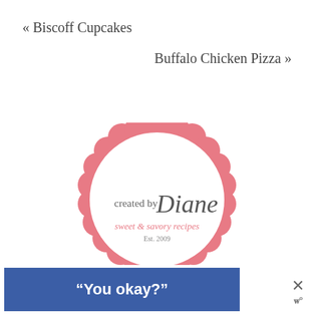« Biscoff Cupcakes
Buffalo Chicken Pizza »
[Figure (logo): Created by Diane logo — pink scalloped circle border with white interior, text 'created by Diane sweet & savory recipes Est. 2009']
"You okay?"